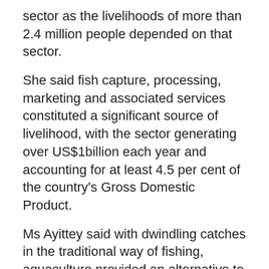sector as the livelihoods of more than 2.4 million people depended on that sector.
She said fish capture, processing, marketing and associated services constituted a significant source of livelihood, with the sector generating over US$1billion each year and accounting for at least 4.5 per cent of the country's Gross Domestic Product.
Ms Ayittey said with dwindling catches in the traditional way of fishing, aquaculture provided an alternative to fish production and offered economic opportunities. Therefore her outfit had initiated programmes in that direction to help enhance and sustain fish production.
She said more than 126 million fingerlings were produced this year, out of a target of 150 million, which boosted aquaculture production from 38,547metric tonnes in 2014 to 46,250 metric tonnes